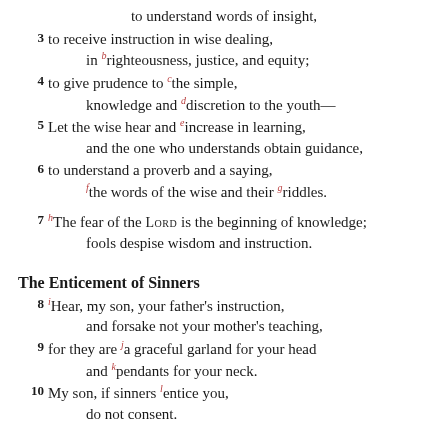to understand words of insight,
3 to receive instruction in wise dealing, in righteousness, justice, and equity;
4 to give prudence to the simple, knowledge and discretion to the youth—
5 Let the wise hear and increase in learning, and the one who understands obtain guidance,
6 to understand a proverb and a saying, the words of the wise and their riddles.
7 The fear of the LORD is the beginning of knowledge; fools despise wisdom and instruction.
The Enticement of Sinners
8 Hear, my son, your father's instruction, and forsake not your mother's teaching,
9 for they are a graceful garland for your head and pendants for your neck.
10 My son, if sinners entice you, do not consent.